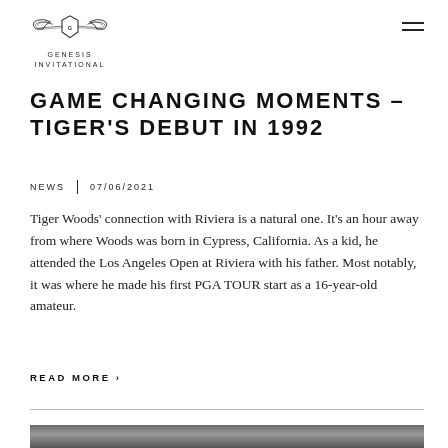[Figure (logo): Genesis Invitational logo with winged emblem and text GENESIS INVITATIONAL]
GAME CHANGING MOMENTS – TIGER'S DEBUT IN 1992
NEWS | 07/06/2021
Tiger Woods' connection with Riviera is a natural one. It's an hour away from where Woods was born in Cypress, California. As a kid, he attended the Los Angeles Open at Riviera with his father. Most notably, it was where he made his first PGA TOUR start as a 16-year-old amateur.
READ MORE >
[Figure (photo): Black and white photo at the bottom of the page, partially visible]